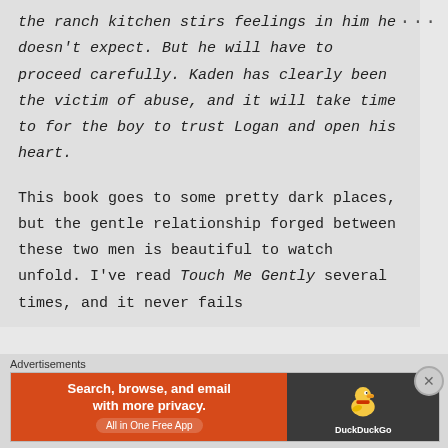the ranch kitchen stirs feelings in him he doesn't expect. But he will have to proceed carefully. Kaden has clearly been the victim of abuse, and it will take time to for the boy to trust Logan and open his heart.
This book goes to some pretty dark places, but the gentle relationship forged between these two men is beautiful to watch unfold. I've read Touch Me Gently several times, and it never fails
Advertisements
[Figure (screenshot): DuckDuckGo advertisement banner: orange left section with text 'Search, browse, and email with more privacy. All in One Free App', dark right section with DuckDuckGo duck logo and brand name.]